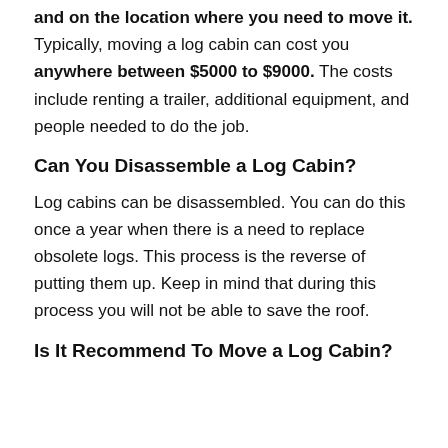and on the location where you need to move it. Typically, moving a log cabin can cost you anywhere between $5000 to $9000. The costs include renting a trailer, additional equipment, and people needed to do the job.
Can You Disassemble a Log Cabin?
Log cabins can be disassembled. You can do this once a year when there is a need to replace obsolete logs. This process is the reverse of putting them up. Keep in mind that during this process you will not be able to save the roof.
Is It Recommend To Move a Log Cabin?